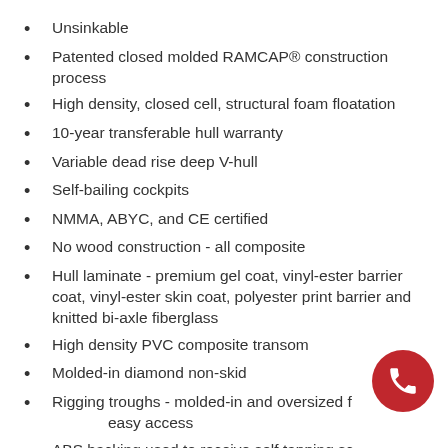Unsinkable
Patented closed molded RAMCAP® construction process
High density, closed cell, structural foam floatation
10-year transferable hull warranty
Variable dead rise deep V-hull
Self-bailing cockpits
NMMA, ABYC, and CE certified
No wood construction - all composite
Hull laminate - premium gel coat, vinyl-ester barrier coat, vinyl-ester skin coat, polyester print barrier and knitted bi-axle fiberglass
High density PVC composite transom
Molded-in diamond non-skid
Rigging troughs - molded-in and oversized for easy access
ABS backing used to receive self tapping screws and bolts